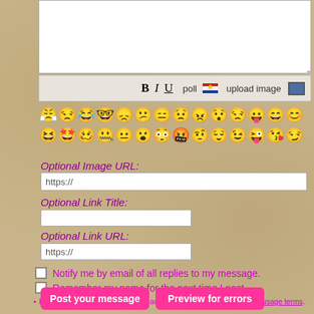[Figure (screenshot): Message composition textarea (white input box)]
[Figure (screenshot): Toolbar with Bold, Italic, Underline buttons, poll icon, and upload image button]
[Figure (screenshot): Two rows of emoji smiley face icons]
Optional Image URL:
[Figure (screenshot): Text input field showing https://]
Optional Link Title:
[Figure (screenshot): Empty text input field for link title]
Optional Link URL:
[Figure (screenshot): Text input field showing https://]
Notify me by email of all replies to my message.
Remember my name for the next time I post.
By posting, you confirm that you have read and agree to the board's usage terms.
Post your message
Preview for errors